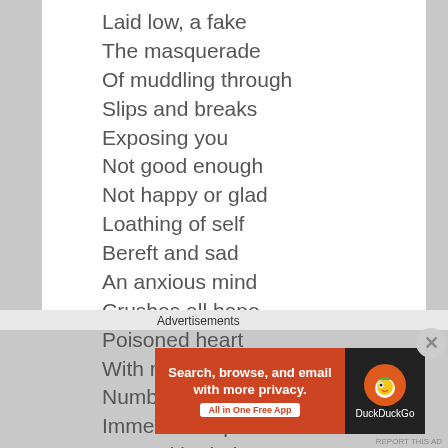Laid low, a fake
The masquerade
Of muddling through
Slips and breaks
Exposing you
Not good enough
Not happy or glad
Loathing of self
Bereft and sad
An anxious mind
Crushes all hope
Poisoned heart
With no antidote
Numbed from joy
Immersed in pain
Doused in dark
Advertisements
[Figure (other): DuckDuckGo advertisement banner: Search, browse, and email with more privacy. All in One Free App]